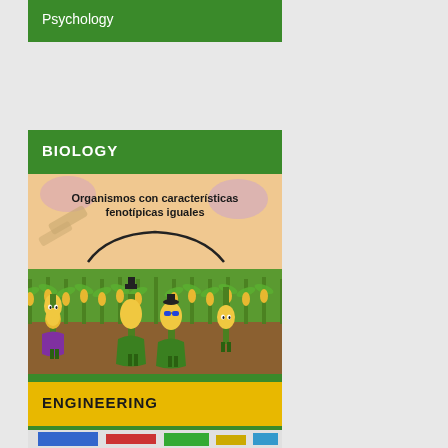Psychology
BIOLOGY
[Figure (illustration): Cartoon illustration of corn characters in a field with text 'Organismos con características fenotípicas iguales' — depicting genetically modified organisms concept]
Understanding Genetically Modified Organisms
ENGINEERING
[Figure (illustration): Partial illustration visible at bottom of page, appears to show colorful shapes related to engineering topic]